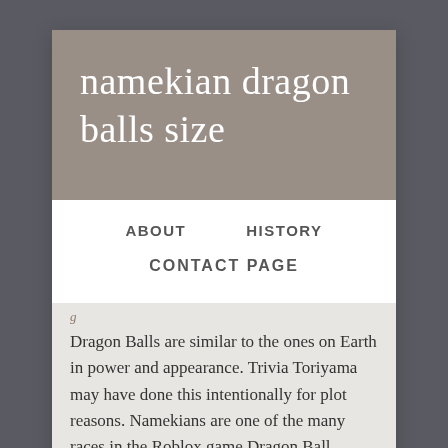namekian dragon balls size
ABOUT
HISTORY
CONTACT PAGE
Dragon Balls are similar to the ones on Earth in power and appearance. Trivia Toriyama may have done this intentionally for plot reasons. Namekians are one of the many races in the Roblox game Dragon Ball Online Generations.